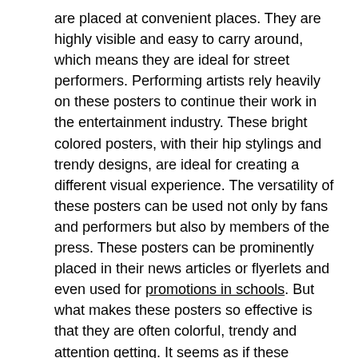are placed at convenient places. They are highly visible and easy to carry around, which means they are ideal for street performers. Performing artists rely heavily on these posters to continue their work in the entertainment industry. These bright colored posters, with their hip stylings and trendy designs, are ideal for creating a different visual experience. The versatility of these posters can be used not only by fans and performers but also by members of the press. These posters can be prominently placed in their news articles or flyerlets and even used for promotions in schools. But what makes these posters so effective is that they are often colorful, trendy and attention getting. It seems as if these posters are not meant to just be placed on walls but rather to be viewed by many people.
These bright colored and funky posters are placed in places such as colleges, youth centers, as well as inside